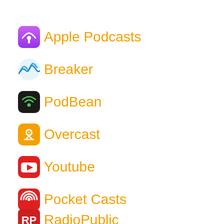Apple Podcasts
Breaker
PodBean
Overcast
Youtube
Pocket Casts
RadioPublic